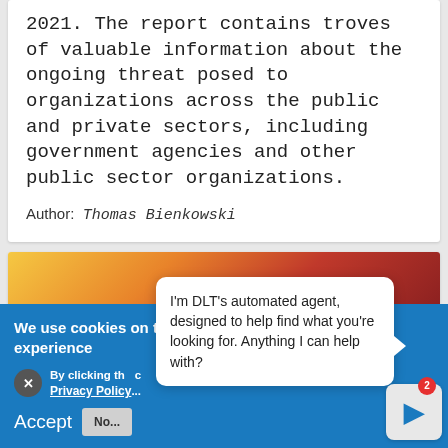2021. The report contains troves of valuable information about the ongoing threat posed to organizations across the public and private sectors, including government agencies and other public sector organizations.
Author: Thomas Bienkowski
[Figure (photo): Partial view of colorful book spines or folders in orange, red, and dark red tones]
We use cookies on this site to enhance your user experience
By clicking th... Privacy Policy...
I'm DLT's automated agent, designed to help find what you're looking for. Anything I can help with?
Accept   No...